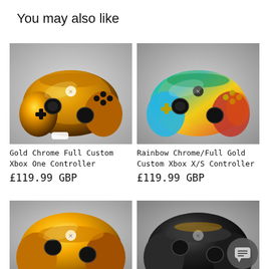You may also like
[Figure (photo): Gold Chrome Full Custom Xbox One Controller product photo on grey background]
Gold Chrome Full Custom Xbox One Controller
£119.99 GBP
[Figure (photo): Rainbow Chrome/Full Gold Custom Xbox X/S Controller product photo on grey background]
Rainbow Chrome/Full Gold Custom Xbox X/S Controller
£119.99 GBP
[Figure (photo): Gold chrome Xbox controller, partially visible at bottom left]
[Figure (photo): Dark chrome Xbox controller, partially visible at bottom right, with chat support badge overlay]